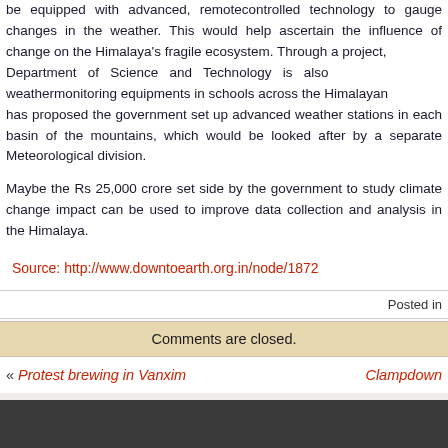be equipped with advanced, remotecontrolled technology to gauge changes in the weather. This would help ascertain the influence of change on the Himalaya's fragile ecosystem. Through a project, the Department of Science and Technology is also installing weathermonitoring equipments in schools across the Himalayan region. It has proposed the government set up advanced weather stations in each basin of the mountains, which would be looked after by a separate Meteorological division.
Maybe the Rs 25,000 crore set side by the government to study climate change impact can be used to improve data collection and analysis in the Himalaya.
Source: http://www.downtoearth.org.in/node/1872
Posted in
Comments are closed.
« Protest brewing in Vanxim
Clampdown